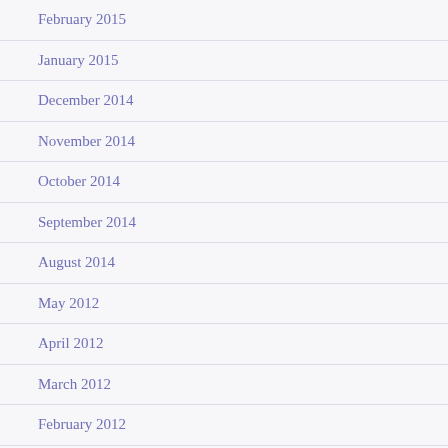February 2015
January 2015
December 2014
November 2014
October 2014
September 2014
August 2014
May 2012
April 2012
March 2012
February 2012